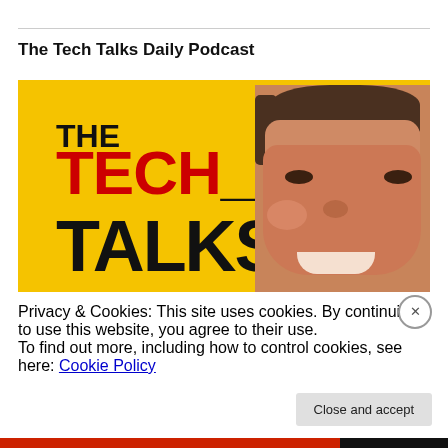The Tech Talks Daily Podcast
[Figure (illustration): Podcast cover art with yellow background. Text reads THE TECH_ TALKS in bold black and red letters. A man's face (smiling) appears on the right side.]
Privacy & Cookies: This site uses cookies. By continuing to use this website, you agree to their use.
To find out more, including how to control cookies, see here: Cookie Policy
Close and accept